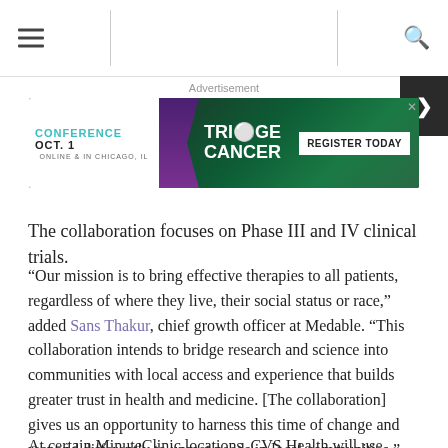Navigation bar with hamburger menu and search icon
[Figure (screenshot): Advertisement banner for Triage Cancer conference: 'CONFERENCE OCT. 1 ONLINE & IN CHICAGO, IL' with Triage Cancer logo and 'REGISTER TODAY' button on dark green background]
The collaboration focuses on Phase III and IV clinical trials.
“Our mission is to bring effective therapies to all patients, regardless of where they live, their social status or race,” added Sans Thakur, chief growth officer at Medable. “This collaboration intends to bridge research and science into communities with local access and experience that builds greater trust in health and medicine. [The collaboration] gives us an opportunity to harness this time of change and respond differently to unmet needs in local communities.”
At certain MinuteClinic locations, CVS Health will use Medable’s software to...